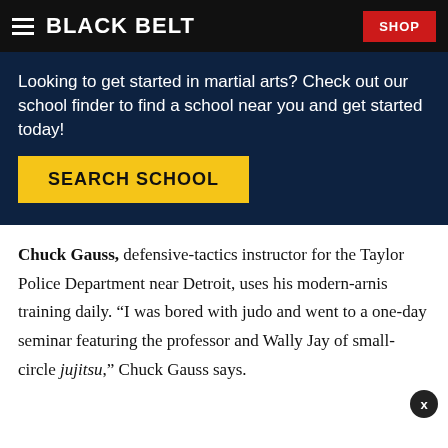BLACK BELT | SHOP
[Figure (infographic): Dark navy blue advertisement banner with text: Looking to get started in martial arts? Check out our school finder to find a school near you and get started today! With a yellow SEARCH SCHOOL button.]
Chuck Gauss, defensive-tactics instructor for the Taylor Police Department near Detroit, uses his modern-arnis training daily. “I was bored with judo and went to a one-day seminar featuring the professor and Wally Jay of small-circle jujitsu,” Chuck Gauss says.